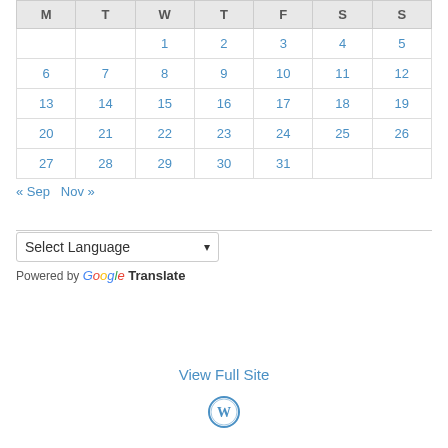| M | T | W | T | F | S | S |
| --- | --- | --- | --- | --- | --- | --- |
|  |  | 1 | 2 | 3 | 4 | 5 |
| 6 | 7 | 8 | 9 | 10 | 11 | 12 |
| 13 | 14 | 15 | 16 | 17 | 18 | 19 |
| 20 | 21 | 22 | 23 | 24 | 25 | 26 |
| 27 | 28 | 29 | 30 | 31 |  |  |
« Sep   Nov »
Select Language
Powered by Google Translate
View Full Site